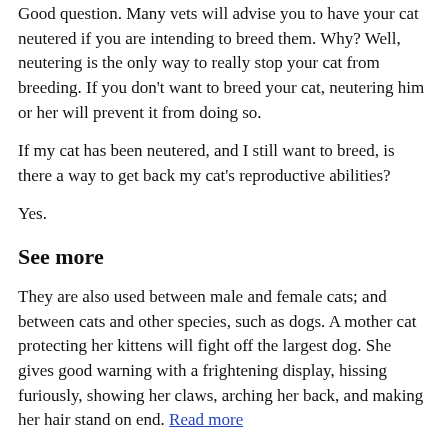Good question. Many vets will advise you to have your cat neutered if you are intending to breed them. Why? Well, neutering is the only way to really stop your cat from breeding. If you don't want to breed your cat, neutering him or her will prevent it from doing so.
If my cat has been neutered, and I still want to breed, is there a way to get back my cat's reproductive abilities?
Yes.
See more
They are also used between male and female cats; and between cats and other species, such as dogs. A mother cat protecting her kittens will fight off the largest dog. She gives good warning with a frightening display, hissing furiously, showing her claws, arching her back, and making her hair stand on end. Read more
What is neutering in cats? Neutering is a routine operation to remove a cat's reproductive organs so they can't breed. The operation is performed under general anaesthetic. In male cats (toms), it involves the removal of the testes and is known as